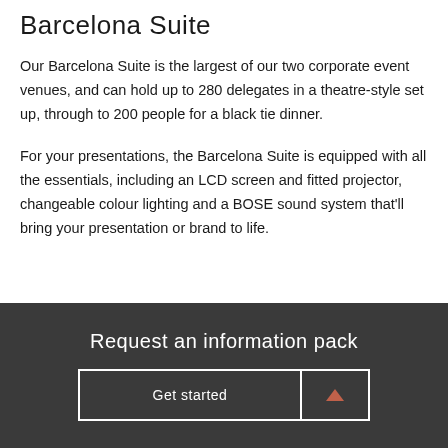Barcelona Suite
Our Barcelona Suite is the largest of our two corporate event venues, and can hold up to 280 delegates in a theatre-style set up, through to 200 people for a black tie dinner.
For your presentations, the Barcelona Suite is equipped with all the essentials, including an LCD screen and fitted projector, changeable colour lighting and a BOSE sound system that'll bring your presentation or brand to life.
Request an information pack